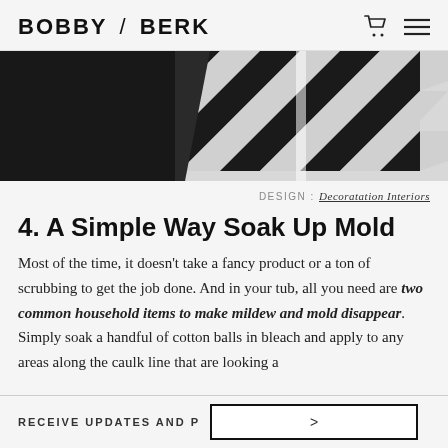BOBBY / BERK
[Figure (photo): Black and white geometric triangle tile pattern bathroom floor/wall, viewed from above with a mirror or glass edge visible]
DESIGN: Decoratation Interiors
4. A Simple Way Soak Up Mold
Most of the time, it doesn't take a fancy product or a ton of scrubbing to get the job done. And in your tub, all you need are two common household items to make mildew and mold disappear. Simply soak a handful of cotton balls in bleach and apply to any areas along the caulk line that are looking a
RECEIVE UPDATES AND P